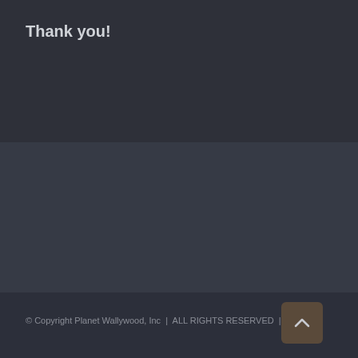Thank you!
© Copyright Planet Wallywood, Inc  |  ALL RIGHTS RESERVED  |